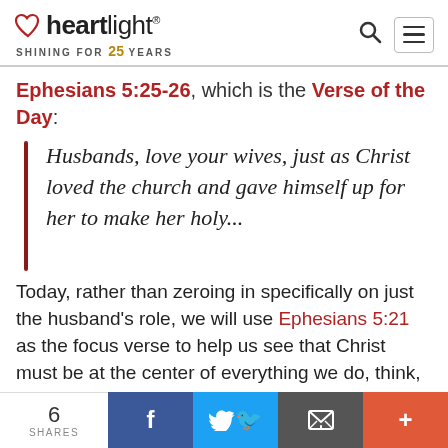heartlight® SHINING FOR 25 YEARS
Ephesians 5:25-26, which is the Verse of the Day:
Husbands, love your wives, just as Christ loved the church and gave himself up for her to make her holy...
Today, rather than zeroing in specifically on just the husband's role, we will use Ephesians 5:21 as the focus verse to help us see that Christ must be at the center of everything we do, think, say, and are:
6 SHARES